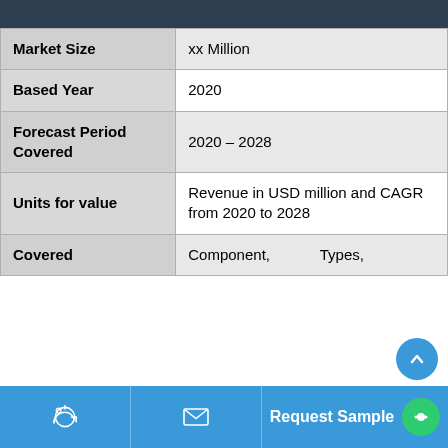| Market Size | xx Million |
| Based Year | 2020 |
| Forecast Period Covered | 2020 – 2028 |
| Units for value | Revenue in USD million and CAGR from 2020 to 2028 |
| Covered | Component,          Types, |